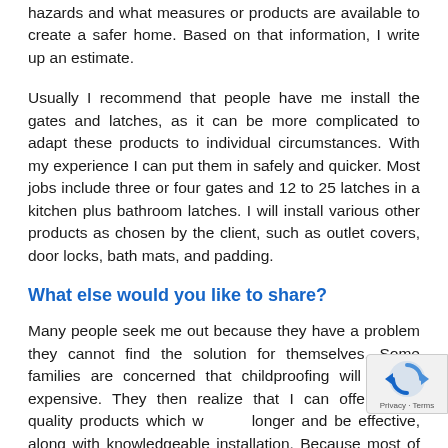hazards and what measures or products are available to create a safer home. Based on that information, I write up an estimate.
Usually I recommend that people have me install the gates and latches, as it can be more complicated to adapt these products to individual circumstances. With my experience I can put them in safely and quicker. Most jobs include three or four gates and 12 to 25 latches in a kitchen plus bathroom latches. I will install various other products as chosen by the client, such as outlet covers, door locks, bath mats, and padding.
What else would you like to share?
Many people seek me out because they have a problem they cannot find the solution for themselves. Some families are concerned that childproofing will be too expensive. They then realize that I can offer better quality products which will last longer and be effective, along with knowledgeable installation. Because most of the childproofing is done at one